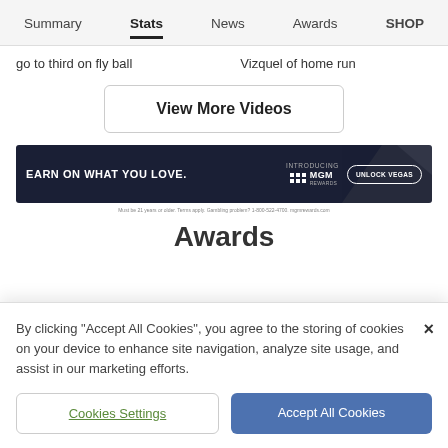Summary  Stats  News  Awards  SHOP
go to third on fly ball
Vizquel of home run
View More Videos
[Figure (other): MGM Rewards advertisement banner: EARN ON WHAT YOU LOVE. INTRODUCING MGM REWARDS. UNLOCK VEGAS button.]
Awards
By clicking “Accept All Cookies”, you agree to the storing of cookies on your device to enhance site navigation, analyze site usage, and assist in our marketing efforts.
Cookies Settings
Accept All Cookies